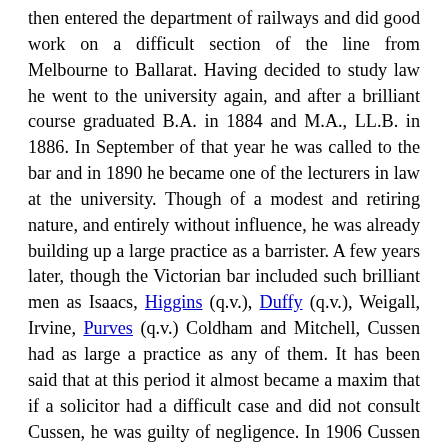then entered the department of railways and did good work on a difficult section of the line from Melbourne to Ballarat. Having decided to study law he went to the university again, and after a brilliant course graduated B.A. in 1884 and M.A., LL.B. in 1886. In September of that year he was called to the bar and in 1890 he became one of the lecturers in law at the university. Though of a modest and retiring nature, and entirely without influence, he was already building up a large practice as a barrister. A few years later, though the Victorian bar included such brilliant men as Isaacs, Higgins (q.v.), Duffy (q.v.), Weigall, Irvine, Purves (q.v.) Coldham and Mitchell, Cussen had as large a practice as any of them. It has been said that at this period it almost became a maxim that if a solicitor had a difficult case and did not consult Cussen, he was guilty of negligence. In 1906 Cussen was made a supreme court judge, and as a judge proved as great a success as he had been as an advocate. He was asked to consolidate the Victorian acts and completed his task in 1915. In 1922 he did another remarkable piece of work, the drafting of the bill which became the Imperial acts application act, an attempt unique in the British empire to select and edit the statutes in English law applicable to the State of Victoria. Five years later, with some